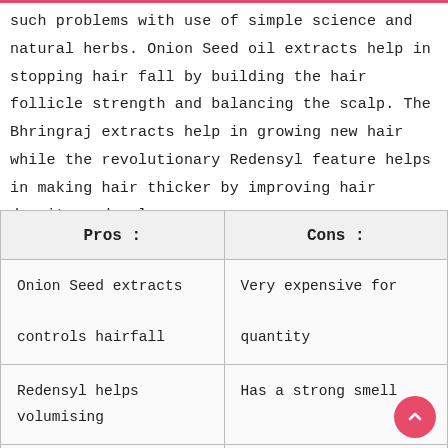such problems with use of simple science and natural herbs. Onion Seed oil extracts help in stopping hair fall by building the hair follicle strength and balancing the scalp. The Bhringraj extracts help in growing new hair while the revolutionary Redensyl feature helps in making hair thicker by improving hair density and volume.
| Pros : | Cons : |
| --- | --- |
| Onion Seed extracts controls hairfall | Very expensive for quantity |
| Redensyl helps volumising | Has a strong smell |
| Bhringraj helps growing |  |